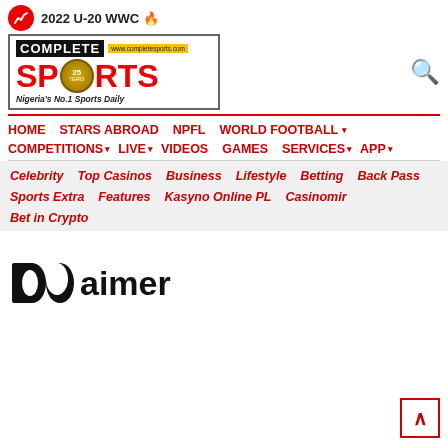2022 U-20 WWC 🔥
[Figure (logo): Complete Sports logo - Nigeria's No.1 Sports Daily, with 25th anniversary badge]
HOME
STARS ABROAD
NPFL
WORLD FOOTBALL ▾
COMPETITIONS ▾
LIVE ▾
VIDEOS
GAMES
SERVICES ▾
APP ▾
Celebrity
Top Casinos
Business
Lifestyle
Betting
Back Pass
Sports Extra
Features
Kasyno Online PL
Casinomir
Bet in Crypto
Disclaimer